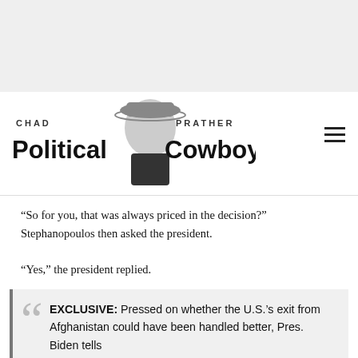[Figure (logo): Chad Prather Political Cowboy logo with man in cowboy hat]
“So for you, that was always priced in the decision?” Stephanopoulos then asked the president.
“Yes,” the president replied.
EXCLUSIVE: Pressed on whether the U.S.’s exit from Afghanistan could have been handled better, Pres. Biden tells @GSteph...